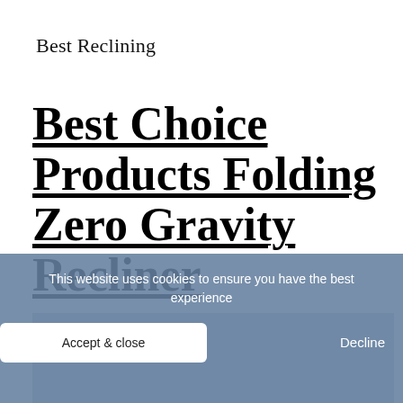Best Reclining
Best Choice Products Folding Zero Gravity Recliner
[Figure (photo): Photo of a blue folding zero gravity recliner chair, partially visible behind a cookie consent banner]
This website uses cookies to ensure you have the best experience
Accept & close
Decline